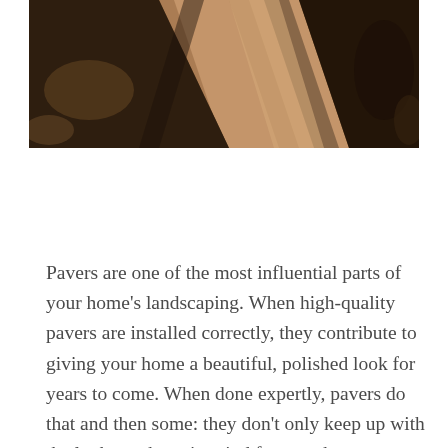[Figure (photo): Aerial or ground-level view of a landscaped outdoor area showing paver pathways, mulched soil, and shadows from trees or structures. Dark and earthy tones visible.]
Pavers are one of the most influential parts of your home's landscaping. When high-quality pavers are installed correctly, they contribute to giving your home a beautiful, polished look for years to come. When done expertly, pavers do that and then some: they don't only keep up with the look you have in mind for your home